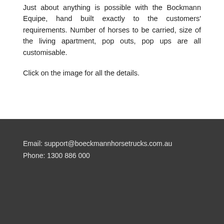Just about anything is possible with the Bockmann Equipe, hand built exactly to the customers' requirements. Number of horses to be carried, size of the living apartment, pop outs, pop ups are all customisable.
Click on the image for all the details.
Email: support@boeckmannhorsetrucks.com.au
Phone: 1300 886 000